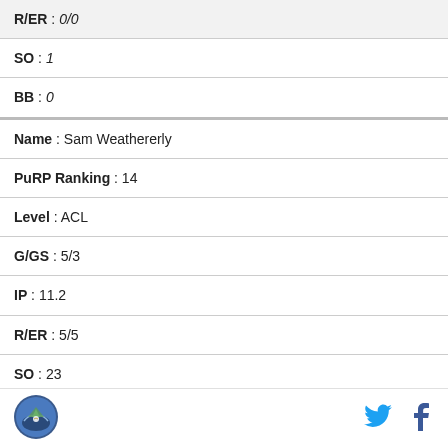| R/ER : 0/0 |
| SO : 1 |
| BB : 0 |
| Name : Sam Weatherly |
| PuRP Ranking : 14 |
| Level : ACL |
| G/GS : 5/3 |
| IP : 11.2 |
| R/ER : 5/5 |
| SO : 23 |
| BB : 2 |
[Figure (logo): Site logo - circular emblem with mountain/baseball scene]
[Figure (logo): Twitter bird icon]
[Figure (logo): Facebook f icon]